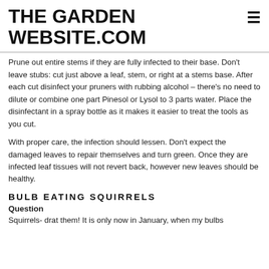THE GARDEN WEBSITE.COM
Prune out entire stems if they are fully infected to their base. Don't leave stubs: cut just above a leaf, stem, or right at a stems base. After each cut disinfect your pruners with rubbing alcohol – there's no need to dilute or combine one part Pinesol or Lysol to 3 parts water. Place the disinfectant in a spray bottle as it makes it easier to treat the tools as you cut.
With proper care, the infection should lessen. Don't expect the damaged leaves to repair themselves and turn green. Once they are infected leaf tissues will not revert back, however new leaves should be healthy.
BULB EATING SQUIRRELS
Question
Squirrels- drat them! It is only now in January, when my bulbs